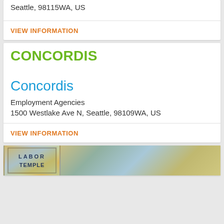Seattle, 98115WA, US
VIEW INFORMATION
[Figure (logo): Concordis company logo in green bold uppercase text]
Concordis
Employment Agencies
1500 Westlake Ave N, Seattle, 98109WA, US
VIEW INFORMATION
[Figure (photo): Labor Temple sign photo]